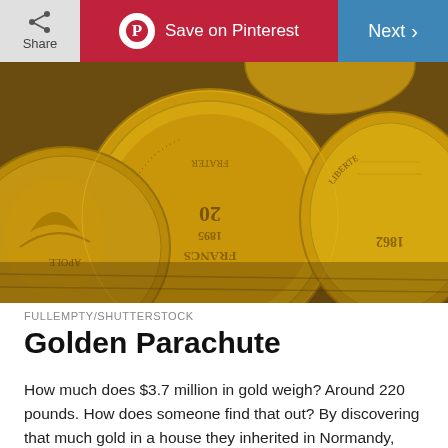Share | Save on Pinterest | Next
[Figure (photo): Close-up photograph of multiple gold coins including French 20 Francs coins (1895) and other historical gold coins with inscriptions, shown at an angle on a wooden surface.]
FULLEMPTY/SHUTTERSTOCK
Golden Parachute
How much does $3.7 million in gold weigh? Around 220 pounds. How does someone find that out? By discovering that much gold in a house they inherited in Normandy, France. In sum, there were 5,000 gold pieces, two bars of 12 kilos, and 37 ingots of 1 kilo. The descendent found gold when